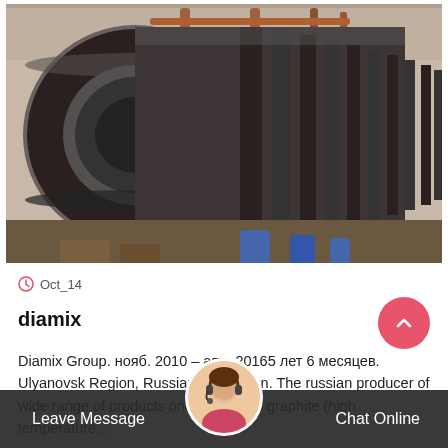[Figure (photo): Industrial large cylindrical metal drum/roller in a factory/warehouse setting, with metal pipes and industrial equipment visible in the background.]
Oct_14
diamix
Diamix Group. нояб. 2010 – апр. 20165 лет 6 месяцев. Ulyanovsk Region, Russian Federation. The russian producer of wide range of products on the basis of graphite (high temperature…
Leave Message
Chat Online